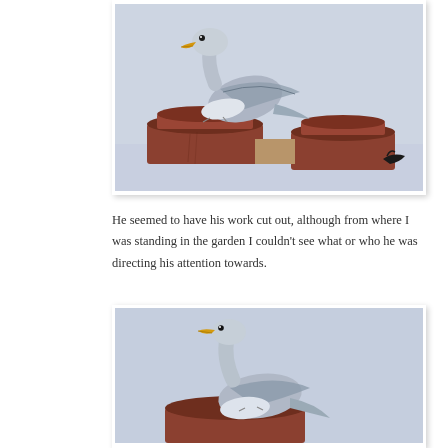[Figure (photo): A seagull perched on top of red terracotta chimney pots against a pale grey-blue sky. Another bird is visible at the lower right. The seagull is grey and white with a yellow beak, viewed from below.]
He seemed to have his work cut out, although from where I was standing in the garden I couldn't see what or who he was directing his attention towards.
[Figure (photo): A seagull standing on a chimney pot, viewed from the side against a pale blue-grey sky. The bird is grey and white with a yellow beak, its neck elongated, looking upward.]